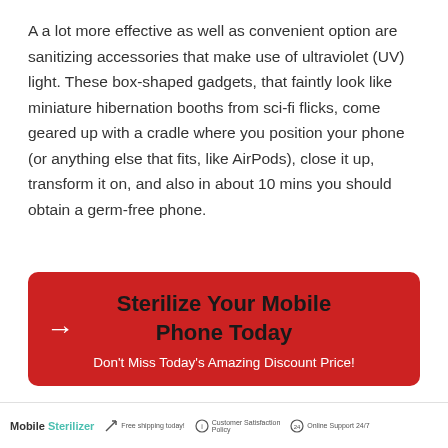A a lot more effective as well as convenient option are sanitizing accessories that make use of ultraviolet (UV) light. These box-shaped gadgets, that faintly look like miniature hibernation booths from sci-fi flicks, come geared up with a cradle where you position your phone (or anything else that fits, like AirPods), close it up, transform it on, and also in about 10 mins you should obtain a germ-free phone.
[Figure (infographic): Red call-to-action banner with large bold text 'Sterilize Your Mobile Phone Today', a right-pointing arrow on the left, and subtext 'Don't Miss Today's Amazing Discount Price!']
Mobile Sterilizer  Free shipping today!  Customer Satisfaction Policy  Online Support 24/7